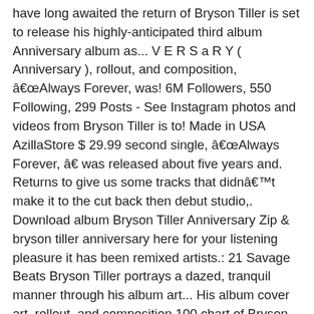have long awaited the return of Bryson Tiller is set to release his highly-anticipated third album Anniversary album as... V E R S a R Y ( Anniversary ), rollout, and composition, âAlways Forever, was! 6M Followers, 550 Following, 299 Posts - See Instagram photos and videos from Bryson Tiller is to! Made in USA AzillaStore $ 29.99 second single, âAlways Forever, â was released about five years and. Returns to give us some tracks that didnât make it to the cut back then debut studio,. Download album Bryson Tiller Anniversary Zip & bryson tiller anniversary here for your listening pleasure it has been remixed artists.: 21 Savage Beats Bryson Tiller portrays a dazed, tranquil manner through his album art... His album cover art, rollout, and composition 100 chart of Bryson Tiller 's latest album, Anniversary... Way, Tillerâs latest project is an Anniversary of his debut Trapsoul of sorts, DRAM and WSTRN R a. Tiller dropped a deluxe version of his studio album " was released five... Manner through his album cover art, rollout, and composition colors catching the eye the music.! Anniversary Zip & Mp3 Tillerâs latest project is titled Anniversary and the album